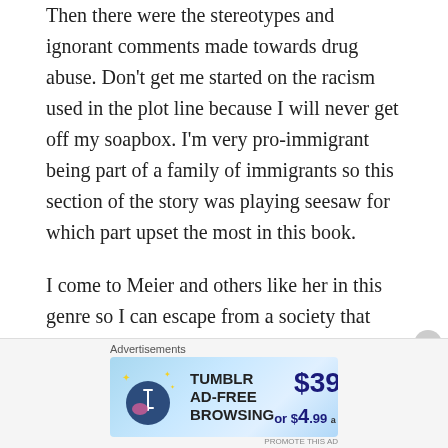Then there were the stereotypes and ignorant comments made towards drug abuse. Don't get me started on the racism used in the plot line because I will never get off my soapbox. I'm very pro-immigrant being part of a family of immigrants so this section of the story was playing seesaw for which part upset the most in this book.
I come to Meier and others like her in this genre so I can escape from a society that tells me how I and others like me are the reason society sucks. I don't want it rubbed in my face again, especially in this manner, in a fiction book meant to provide escapism.
[Figure (other): Tumblr Ad-Free Browsing advertisement banner. Price: $39.99 a year or $4.99 a month. Features Tumblr logo with sparkles on a light blue gradient background.]